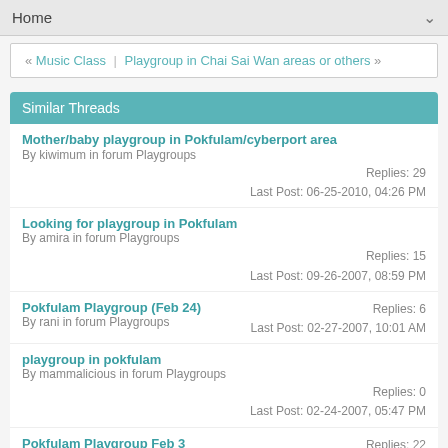Home
« Music Class | Playgroup in Chai Sai Wan areas or others »
Similar Threads
Mother/baby playgroup in Pokfulam/cyberport area
By kiwimum in forum Playgroups
Replies: 29
Last Post: 06-25-2010, 04:26 PM
Looking for playgroup in Pokfulam
By amira in forum Playgroups
Replies: 15
Last Post: 09-26-2007, 08:59 PM
Pokfulam Playgroup (Feb 24)
By rani in forum Playgroups
Replies: 6
Last Post: 02-27-2007, 10:01 AM
playgroup in pokfulam
By mammalicious in forum Playgroups
Replies: 0
Last Post: 02-24-2007, 05:47 PM
Pokfulam Playgroup Feb 3
Replies: 22
Last Post: 02-04-2004, 10:41 AM